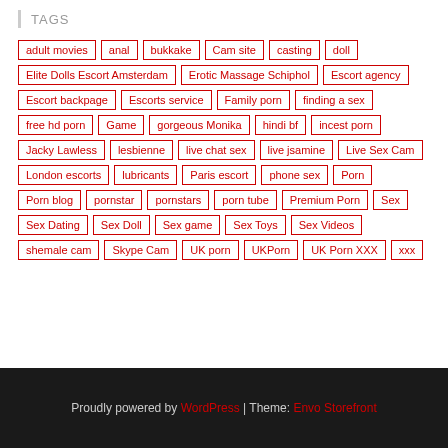TAGS
adult movies
anal
bukkake
Cam site
casting
doll
Elite Dolls Escort Amsterdam
Erotic Massage Schiphol
Escort agency
Escort backpage
Escorts service
Family porn
finding a sex
free hd porn
Game
gorgeous Monika
hindi bf
incest porn
Jacky Lawless
lesbienne
live chat sex
live jsamine
Live Sex Cam
London escorts
lubricants
Paris escort
phone sex
Porn
Porn blog
pornstar
pornstars
porn tube
Premium Porn
Sex
Sex Dating
Sex Doll
Sex game
Sex Toys
Sex Videos
shemale cam
Skype Cam
UK porn
UKPorn
UK Porn XXX
xxx
Proudly powered by WordPress | Theme: Envo Storefront